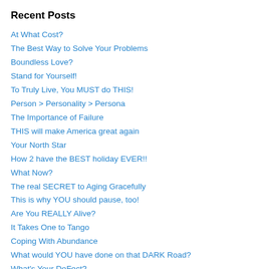Recent Posts
At What Cost?
The Best Way to Solve Your Problems
Boundless Love?
Stand for Yourself!
To Truly Live, You MUST do THIS!
Person > Personality > Persona
The Importance of Failure
THIS will make America great again
Your North Star
How 2 have the BEST holiday EVER!!
What Now?
The real SECRET to Aging Gracefully
This is why YOU should pause, too!
Are You REALLY Alive?
It Takes One to Tango
Coping With Abundance
What would YOU have done on that DARK Road?
What's Your DeFect?